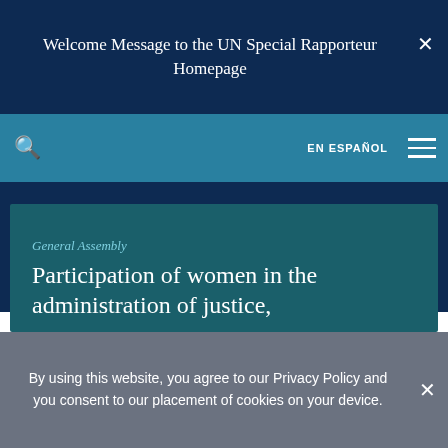Welcome Message to the UN Special Rapporteur Homepage
REPORT DETAILS →
General Assembly
Participation of women in the administration of justice,
By using this website, you agree to our Privacy Policy and you consent to our placement of cookies on your device.